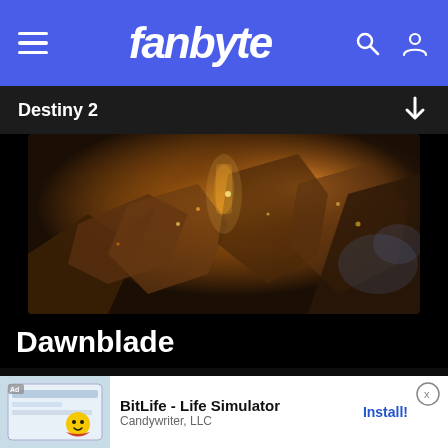fanbyte
Destiny 2
[Figure (screenshot): Destiny 2 game scene showing Dawnblade warlock subclass with dark orange-lit destruction and glowing effects]
Dawnblade
[Figure (screenshot): First Byte video thumbnail showing a cat lying on a desk with white cat icon badge, play button overlay, and First Byte red badge]
Stray? More Like Hey! This Game's Pretty Good | First Byte
[Figure (screenshot): Ad banner: BitLife - Life Simulator by Candywriter, LLC with Install button]